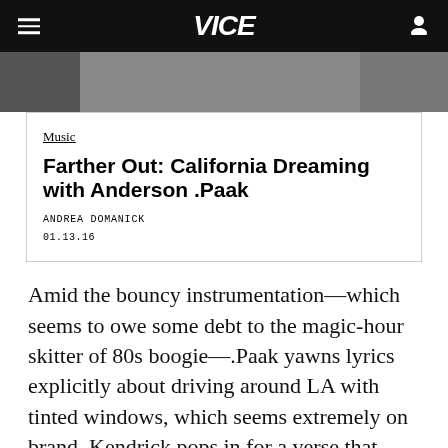VICE
[Figure (photo): Partial hero image, dark toned photograph cropped at top]
Music
Farther Out: California Dreaming with Anderson .Paak
ANDREA DOMANICK
01.13.16
Amid the bouncy instrumentation—which seems to owe some debt to the magic-hour skitter of 80s boogie—.Paak yawns lyrics explicitly about driving around LA with tinted windows, which seems extremely on brand. Kendrick pops in for a verse that feels